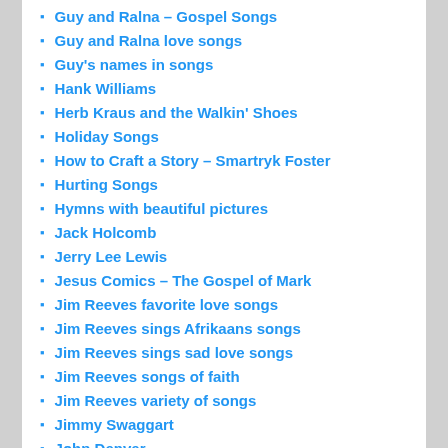Guy and Ralna – Gospel Songs
Guy and Ralna love songs
Guy's names in songs
Hank Williams
Herb Kraus and the Walkin' Shoes
Holiday Songs
How to Craft a Story – Smartryk Foster
Hurting Songs
Hymns with beautiful pictures
Jack Holcomb
Jerry Lee Lewis
Jesus Comics – The Gospel of Mark
Jim Reeves favorite love songs
Jim Reeves sings Afrikaans songs
Jim Reeves sings sad love songs
Jim Reeves songs of faith
Jim Reeves variety of songs
Jimmy Swaggart
John Denver
Johnny Cash Gospel Songs
Johnny Cash love songs
Johnny Cash Ho... (truncated)